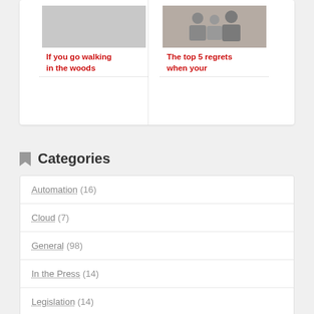[Figure (photo): Photo placeholder for article about walking in the woods]
If you go walking in the woods
[Figure (photo): Photo of people, possibly for article about regrets]
The top 5 regrets when your
Categories
Automation (16)
Cloud (7)
General (98)
In the Press (14)
Legislation (14)
Newsletter (8)